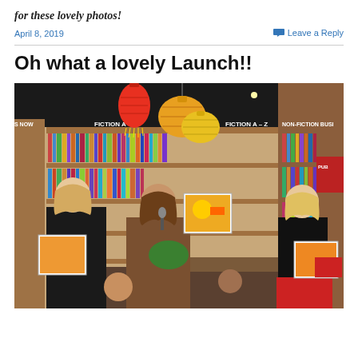for these lovely photos!
April 8, 2019
Leave a Reply
Oh what a lovely Launch!!
[Figure (photo): Photo of a book launch event in a bookstore. A woman in a brown coat is holding up a picture book and speaking into a microphone. Two other women flank her holding books open. Bookshelves fill the background with signs reading FICTION A, FICTION A-Z, NON-FICTION, BUSI. Decorative lanterns hang from the ceiling.]